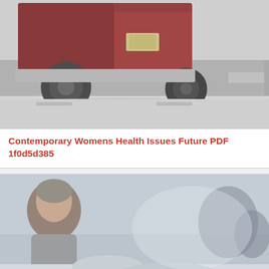[Figure (photo): Blurred photograph of a red truck on a snowy/icy road, viewed from behind, showing rear wheels and bumper area]
Contemporary Womens Health Issues Future PDF 1f0d5d385
[Figure (photo): Blurred photograph of a person outdoors in a snowy/icy winter scene, with muted gray and white tones]